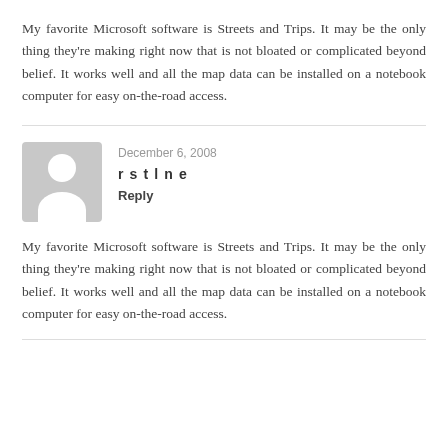My favorite Microsoft software is Streets and Trips. It may be the only thing they're making right now that is not bloated or complicated beyond belief. It works well and all the map data can be installed on a notebook computer for easy on-the-road access.
December 6, 2008
rstlne
Reply
My favorite Microsoft software is Streets and Trips. It may be the only thing they're making right now that is not bloated or complicated beyond belief. It works well and all the map data can be installed on a notebook computer for easy on-the-road access.